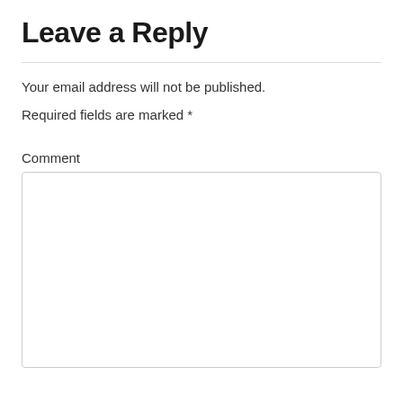Leave a Reply
Your email address will not be published. Required fields are marked *
Comment